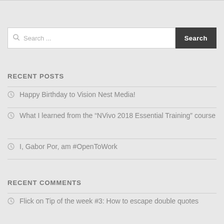Search ...
RECENT POSTS
Happy Birthday to Vision Nest Media!
What I learned from the “NVivo 2018 Essential Training” course
I, Gabor Por, am #OpenToWork
RECENT COMMENTS
Flick on Tip of the week #3: How to escape double quotes